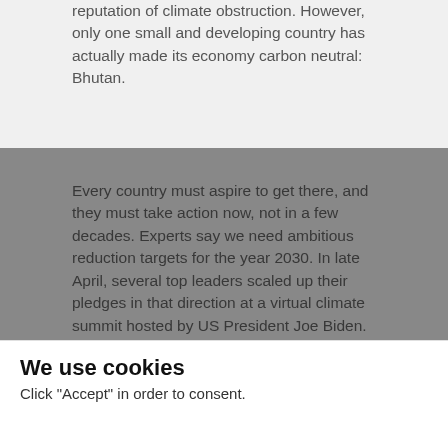reputation of climate obstruction. However, only one small and developing country has actually made its economy carbon neutral: Bhutan.
Every country must aspire to get there, and they must take action now, not in a few decades. Experts say we need ambitious reduction targets for the year 2030. In late April, several top leaders scaled up their pledges in that direction at a virtual climate summit hosted by US President Joe Biden. The USA, Canada and Japan will now act faster. Shortly before, the EU and the UK had – independently of each other – adopted higher emissions-reduction targets for 2030 and 2035 respectively. However, all
We use cookies
Click "Accept" in order to consent.